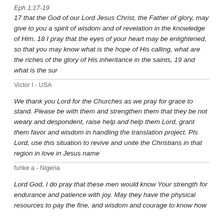Eph 1:17-19
17 that the God of our Lord Jesus Christ, the Father of glory, may give to you a spirit of wisdom and of revelation in the knowledge of Him. 18 I pray that the eyes of your heart may be enlightened, so that you may know what is the hope of His calling, what are the riches of the glory of His inheritance in the saints, 19 and what is the sur
Victor I - USA
We thank you Lord for the Churches as we pray for grace to stand. Please be with them and strengthen them that they be not weary and despondent, raise help and help them Lord, grant them favor and wisdom in handling the translation project. Pls Lord, use this situation to revive and unite the Christians in that region in love in Jesus name
funke a - Nigeria
Lord God, I do pray that these men would know Your strength for endurance and patience with joy. May they have the physical resources to pay the fine, and wisdom and courage to know how